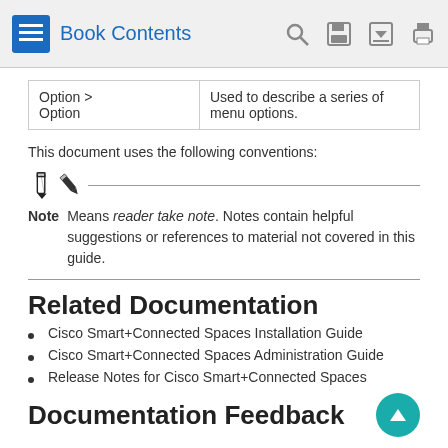Book Contents
| Option > Option | Used to describe a series of menu options. |
This document uses the following conventions:
Note  Means reader take note. Notes contain helpful suggestions or references to material not covered in this guide.
Related Documentation
Cisco Smart+Connected Spaces Installation Guide
Cisco Smart+Connected Spaces Administration Guide
Release Notes for Cisco Smart+Connected Spaces
Documentation Feedback